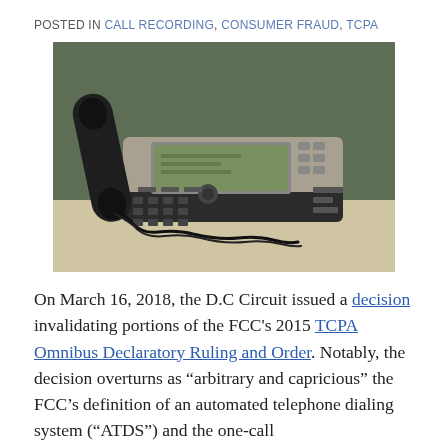POSTED IN CALL RECORDING, CONSUMER FRAUD, TCPA
[Figure (photo): A Cisco IP desk phone (black/dark grey) sitting on a beige table surface against a dark olive-green wall background.]
On March 16, 2018, the D.C Circuit issued a decision invalidating portions of the FCC's 2015 TCPA Omnibus Declaratory Ruling and Order. Notably, the decision overturns as “arbitrary and capricious” the FCC’s definition of an automated telephone dialing system (“ATDS”) and the one-call